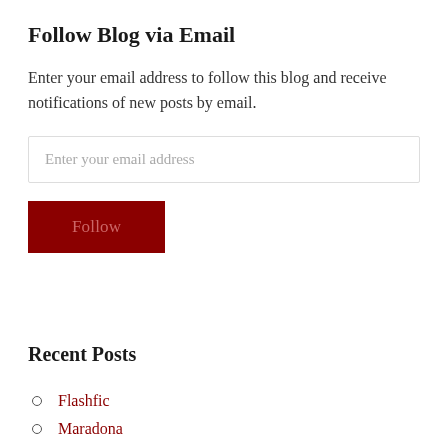Follow Blog via Email
Enter your email address to follow this blog and receive notifications of new posts by email.
Recent Posts
Flashfic
Maradona